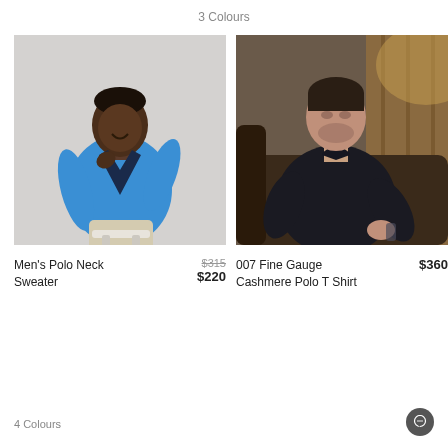3 Colours
[Figure (photo): Man in blue polo neck sweater and beige trousers sitting on a white stool against a light grey background]
[Figure (photo): Man in dark navy polo shirt reclining on a leather chair in a warmly lit interior setting]
Men's Polo Neck Sweater
$315
$220
007 Fine Gauge Cashmere Polo T Shirt
$360
4 Colours